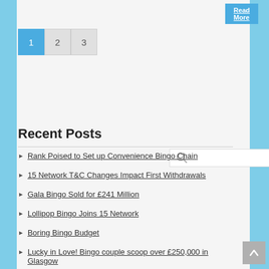Read More
1 2 3
[Figure (other): Search box with magnifying glass icon]
Recent Posts
Rank Poised to Set up Convenience Bingo Chain
15 Network T&C Changes Impact First Withdrawals
Gala Bingo Sold for £241 Million
Lollipop Bingo Joins 15 Network
Boring Bingo Budget
Lucky in Love! Bingo couple scoop over £250,000 in Glasgow